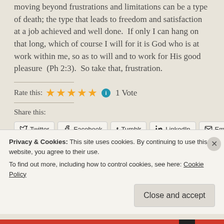moving beyond frustrations and limitations can be a type of death; the type that leads to freedom and satisfaction at a job achieved and well done. If only I can hang on that long, which of course I will for it is God who is at work within me, so as to will and to work for His good pleasure (Ph 2:3). So take that, frustration.
Rate this: ★★★★★ ℹ 1 Vote
Share this:
Twitter Facebook Tumblr LinkedIn Email
Privacy & Cookies: This site uses cookies. By continuing to use this website, you agree to their use.
To find out more, including how to control cookies, see here: Cookie Policy
Close and accept